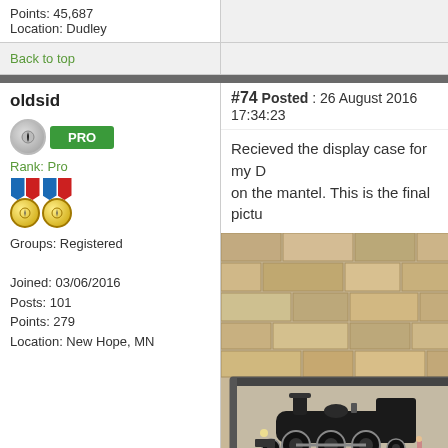Points: 45,687
Location: Dudley
Back to top
oldsid
#74 Posted : 26 August 2016 17:34:23
[Figure (logo): PRO rank badge with icon and medals]
Rank: Pro
Groups: Registered
Joined: 03/06/2016
Posts: 101
Points: 279
Location: New Hope, MN
Recieved the display case for my D... on the mantel. This is the final pictu...
[Figure (photo): Photo of a model steam locomotive in a glass display case placed on a stone/brick mantelpiece]